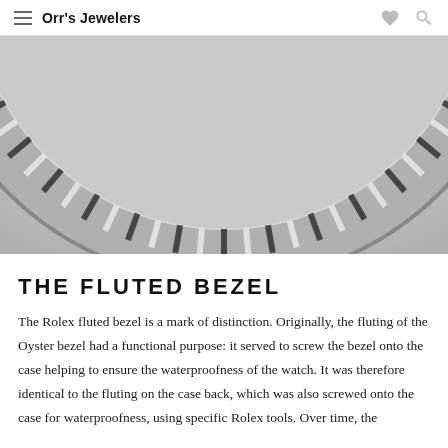Orr's Jewelers
[Figure (photo): Close-up photograph of a Rolex fluted bezel showing the characteristic alternating polished and brushed flutes arranged in a circular pattern against a grey background.]
THE FLUTED BEZEL
The Rolex fluted bezel is a mark of distinction. Originally, the fluting of the Oyster bezel had a functional purpose: it served to screw the bezel onto the case helping to ensure the waterproofness of the watch. It was therefore identical to the fluting on the case back, which was also screwed onto the case for waterproofness, using specific Rolex tools. Over time, the